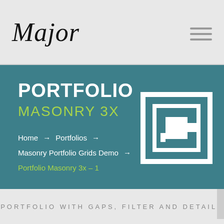Major
PORTFOLIO
MASONRY 3X
Home → Portfolios → Masonry Portfolio Grids Demo → Portfolio Masonry 3x – 1
[Figure (logo): Decorative white geometric nested squares icon on teal background]
PORTFOLIO WITH GAPS, FILTER AND DETAILS